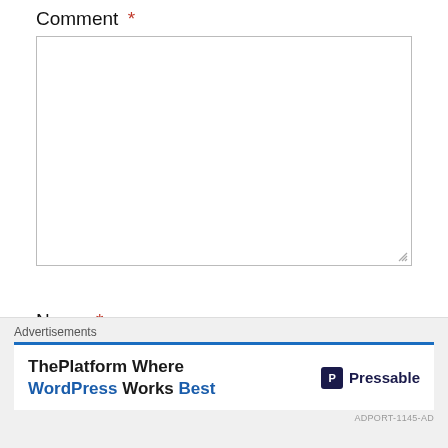Comment *
[Figure (other): Large empty textarea for comment input with resize handle in bottom-right corner]
Name *
[Figure (other): Single-line text input box for name]
[Figure (other): Close/dismiss button (circled X) at right side]
Advertisements
[Figure (infographic): Advertisement banner: ThePlatform Where WordPress Works Best - Pressable]